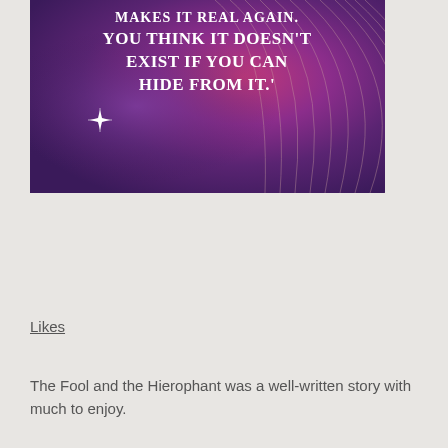[Figure (illustration): A decorative image with a purple/magenta gradient background and white text reading 'MAKES IT REAL AGAIN. YOU THINK IT DOESN'T EXIST IF YOU CAN HIDE FROM IT.' with a white sparkle star on the left and decorative concentric arc lines on the right.]
Likes
The Fool and the Hierophant was a well-written story with much to enjoy.